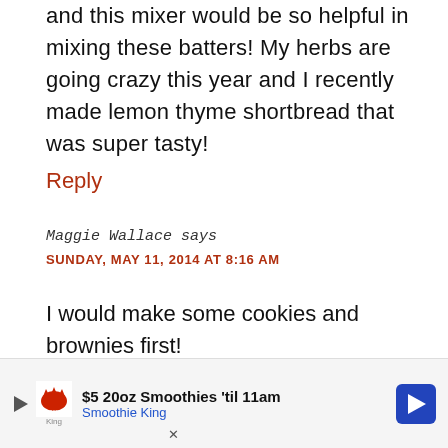and this mixer would be so helpful in mixing these batters! My herbs are going crazy this year and I recently made lemon thyme shortbread that was super tasty!
Reply
Maggie Wallace says
SUNDAY, MAY 11, 2014 AT 8:16 AM
I would make some cookies and brownies first!
Repl
[Figure (infographic): Advertisement banner for Smoothie King: '$5 20oz Smoothies til 11am' with Smoothie King logo, play button, close button, and directional arrow icon.]